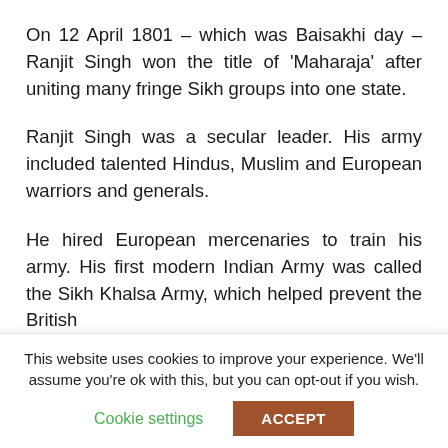On 12 April 1801 – which was Baisakhi day – Ranjit Singh won the title of ‘Maharaja’ after uniting many fringe Sikh groups into one state.
Ranjit Singh was a secular leader. His army included talented Hindus, Muslim and European warriors and generals.
He hired European mercenaries to train his army. His first modern Indian Army was called the Sikh Khalsa Army, which helped prevent the British from colonizing Punjab during his lifetime.
This website uses cookies to improve your experience. We'll assume you're ok with this, but you can opt-out if you wish.
Cookie settings
ACCEPT